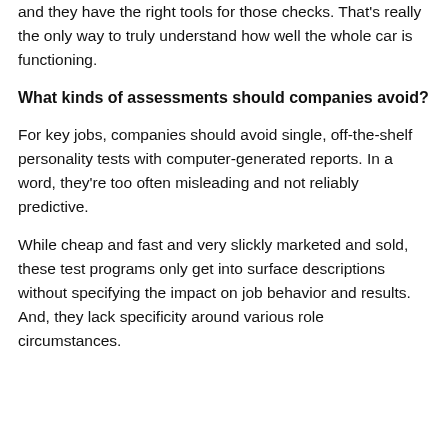and they have the right tools for those checks. That's really the only way to truly understand how well the whole car is functioning.
What kinds of assessments should companies avoid?
For key jobs, companies should avoid single, off-the-shelf personality tests with computer-generated reports. In a word, they're too often misleading and not reliably predictive.
While cheap and fast and very slickly marketed and sold, these test programs only get into surface descriptions without specifying the impact on job behavior and results. And, they lack specificity around various role circumstances.